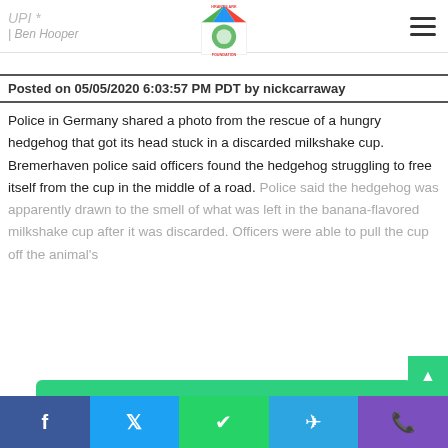UPI | Ben Hooper
Posted on 05/05/2020 6:03:57 PM PDT by nickcarraway
Police in Germany shared a photo from the rescue of a hungry hedgehog that got its head stuck in a discarded milkshake cup. Bremerhaven police said officers found the hedgehog struggling to free itself from the cup in the middle of a road. Police said the hedgehog was apparently drawn to the smell of what was left in the banana-flavored milkshake cup after it was discarded. Officers were able to pull the cup off the animal's
Show More ∨